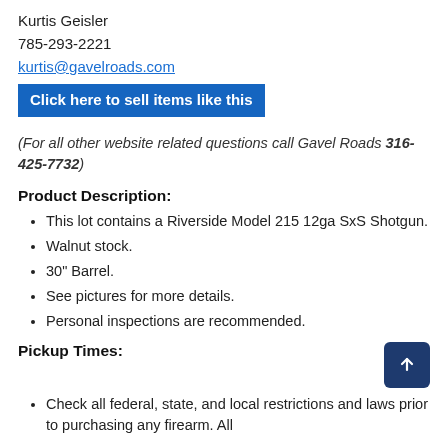Kurtis Geisler
785-293-2221
kurtis@gavelroads.com
Click here to sell items like this
(For all other website related questions call Gavel Roads 316-425-7732)
Product Description:
This lot contains a Riverside Model 215 12ga SxS Shotgun.
Walnut stock.
30" Barrel.
See pictures for more details.
Personal inspections are recommended.
Pickup Times:
Check all federal, state, and local restrictions and laws prior to purchasing any firearm. All